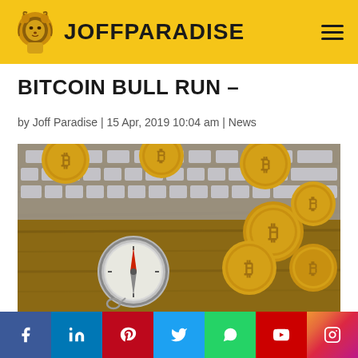JOFFPARADISE
BITCOIN BULL RUN –
by Joff Paradise | 15 Apr, 2019 10:04 am | News
[Figure (photo): Gold Bitcoin coins scattered on a wooden table next to a compass, with a keyboard in the background]
Social share buttons: Facebook, LinkedIn, Pinterest, Twitter, WhatsApp, YouTube, Instagram